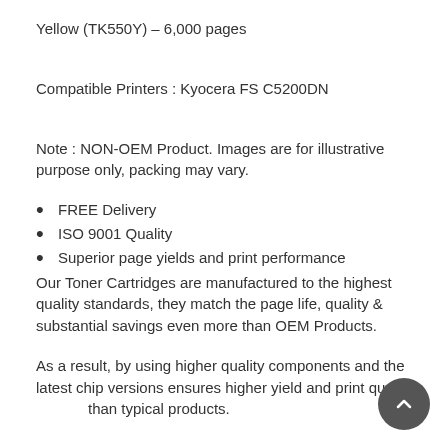Yellow (TK550Y)  –  6,000 pages
Compatible Printers :  Kyocera FS C5200DN
Note  :  NON-OEM Product. Images are for illustrative purpose only, packing may vary.
FREE Delivery
ISO 9001 Quality
Superior page yields and print performance
Our Toner Cartridges are manufactured to the highest quality standards, they match the page life, quality & substantial savings even more than OEM Products.
As a result, by using higher quality components and the latest chip versions ensures higher yield and print quality than typical products.